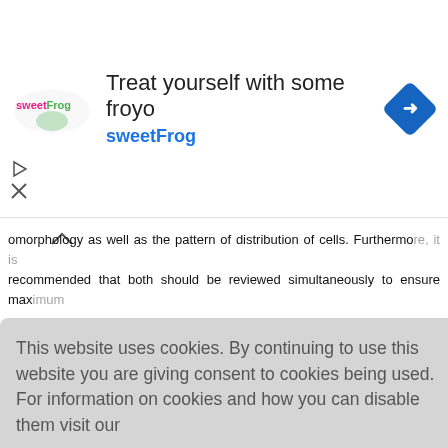[Figure (screenshot): Advertisement banner for sweetFrog frozen yogurt with logo, tagline 'Treat yourself with some froyo', and a blue navigation icon]
omorphology as well as the pattern of distribution of cells. Furthermore, it is recommended that both should be reviewed simultaneously to ensure maximum accuracy
Consent
Informed consent was obtained from the patient.
This website uses cookies. By continuing to use this website you are giving consent to cookies being used. For information on cookies and how you can disable them visit our Privacy and Cookie Policy.
AGREE & PROCEED
onsent forms information be published .
Conflicts of interest